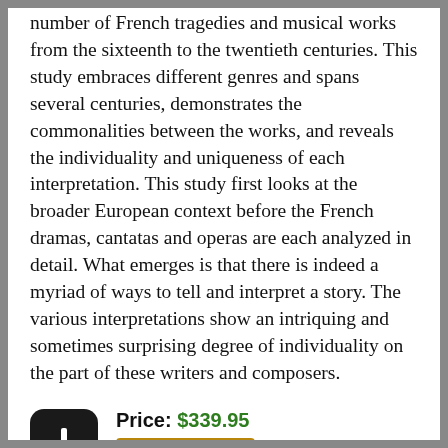number of French tragedies and musical works from the sixteenth to the twentieth centuries. This study embraces different genres and spans several centuries, demonstrates the commonalities between the works, and reveals the individuality and uniqueness of each interpretation. This study first looks at the broader European context before the French dramas, cantatas and operas are each analyzed in detail. What emerges is that there is indeed a myriad of ways to tell and interpret a story. The various interpretations show an intriquing and sometimes surprising degree of individuality on the part of these writers and composers.
Price: $339.95
Add to Cart